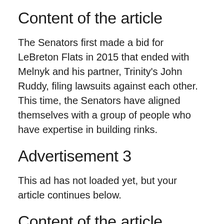Content of the article
The Senators first made a bid for LeBreton Flats in 2015 that ended with Melnyk and his partner, Trinity’s John Ruddy, filing lawsuits against each other. This time, the Senators have aligned themselves with a group of people who have expertise in building rinks.
Advertisement 3
This ad has not loaded yet, but your article continues below.
Content of the article
“It’s no secret the commissioner (Gary Bettman) has said for years, that not only in the Ottawa market, but in any market, having a team near downtown and near your